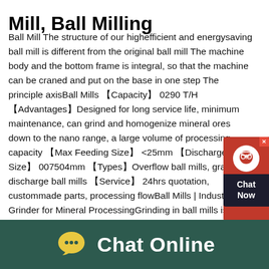Mill, Ball Milling
Ball Mill The structure of our highefficient and energysaving ball mill is different from the original ball mill The machine body and the bottom frame is integral, so that the machine can be craned and put on the base in one step The principle axisBall Mills 【Capacity】 0290 T/H 【Advantages】Designed for long service life, minimum maintenance, can grind and homogenize mineral ores down to the nano range, a large volume of processing capacity 【Max Feeding Size】 <25mm 【Discharge Size】 007504mm 【Types】Overflow ball mills, grate discharge ball mills 【Service】 24hrs quotation, custommade parts, processing flowBall Mills | Industry Grinder for Mineral ProcessingGrinding in ball mills is an important technological process applied to reduce the the inner surface of the mill control structure and the implementation
[Figure (other): Red chat widget with headset icon, showing 'Chat Now' text on dark background]
[Figure (other): Dark teal bottom bar with yellow speech bubble icon and 'Chat Online' white text]